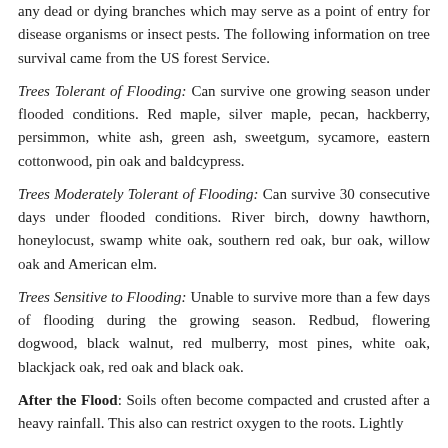any dead or dying branches which may serve as a point of entry for disease organisms or insect pests. The following information on tree survival came from the US forest Service.
Trees Tolerant of Flooding: Can survive one growing season under flooded conditions. Red maple, silver maple, pecan, hackberry, persimmon, white ash, green ash, sweetgum, sycamore, eastern cottonwood, pin oak and baldcypress.
Trees Moderately Tolerant of Flooding: Can survive 30 consecutive days under flooded conditions. River birch, downy hawthorn, honeylocust, swamp white oak, southern red oak, bur oak, willow oak and American elm.
Trees Sensitive to Flooding: Unable to survive more than a few days of flooding during the growing season. Redbud, flowering dogwood, black walnut, red mulberry, most pines, white oak, blackjack oak, red oak and black oak.
After the Flood: Soils often become compacted and crusted after a heavy rainfall. This also can restrict oxygen to the roots. Lightly